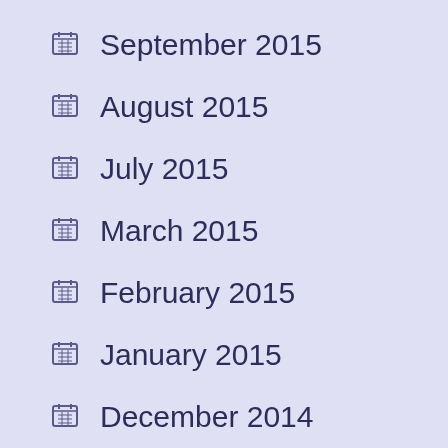September 2015
August 2015
July 2015
March 2015
February 2015
January 2015
December 2014
November 2014
October 2014